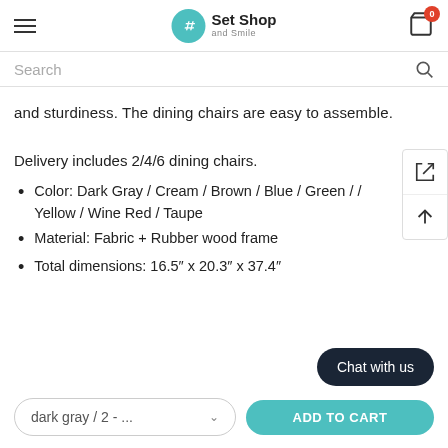Set Shop and Smile — cart: 0
Search
and sturdiness. The dining chairs are easy to assemble.
Delivery includes 2/4/6 dining chairs.
Color: Dark Gray / Cream / Brown / Blue / Green / / Yellow / Wine Red / Taupe
Material: Fabric + Rubber wood frame
Total dimensions: 16.5″ x 20.3″ x 37.4″
dark gray / 2 - ...
ADD TO CART
Chat with us